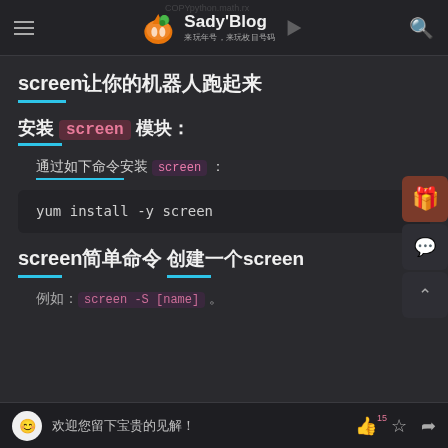Sady'Blog 来玩年号，来玩枚目号码
screen让你的机器人跑起来
安装 screen 模块：
通过如下命令安装 screen：
screen简单命令
创建一个screen
例如：screen -S [name]
欢迎您留下宝贵的见解！